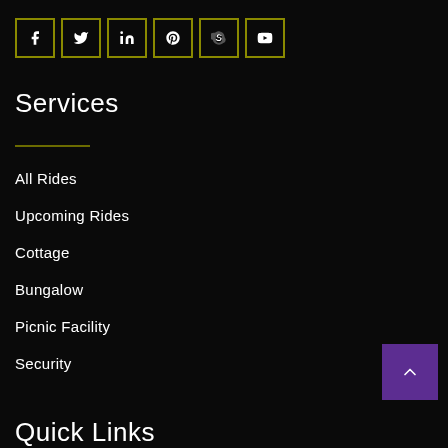[Figure (other): Row of 6 social media icon buttons (Facebook, Twitter, LinkedIn, Pinterest, Skype, YouTube) in dark olive-bordered square boxes]
Services
All Rides
Upcoming Rides
Cottage
Bungalow
Picnic Facility
Security
Quick Links